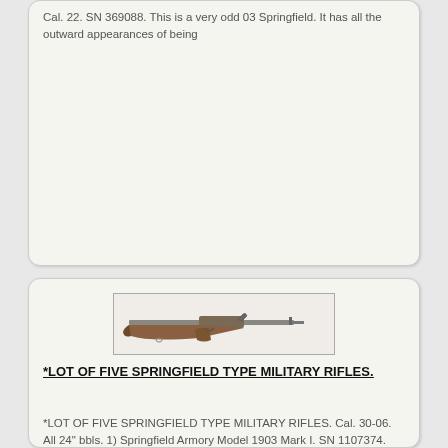Cal. 22. SN 369088. This is a very odd 03 Springfield. It has all the outward appearances of being
[Figure (photo): Photograph of a Springfield type military rifle shown in profile, with wooden stock and long barrel]
*LOT OF FIVE SPRINGFIELD TYPE MILITARY RIFLES.
*LOT OF FIVE SPRINGFIELD TYPE MILITARY RIFLES. Cal. 30-06. All 24" bbls. 1) Springfield Armory Model 1903 Mark I. SN 1107374. This is a Mark I Springfield